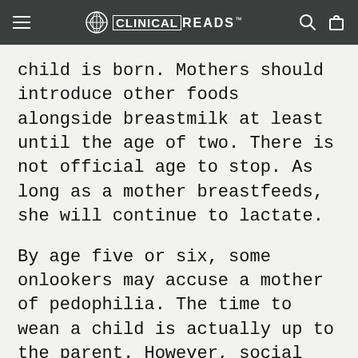CLINICALREADS
child is born. Mothers should introduce other foods alongside breastmilk at least until the age of two. There is not official age to stop. As long as a mother breastfeeds, she will continue to lactate.
By age five or six, some onlookers may accuse a mother of pedophilia. The time to wean a child is actually up to the parent. However, social workers or child protection services may question the family if it continues into grade school.